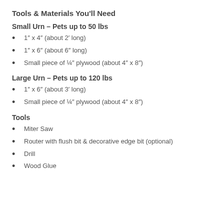Tools & Materials You'll Need
Small Urn – Pets up to 50 lbs
1″ x 4″ (about 2′ long)
1″ x 6″ (about 6″ long)
Small piece of ¼″ plywood (about 4″ x 8″)
Large Urn – Pets up to 120 lbs
1″ x 6″ (about 3′ long)
Small piece of ¼″ plywood (about 4″ x 8″)
Tools
Miter Saw
Router with flush bit & decorative edge bit (optional)
Drill
Wood Glue